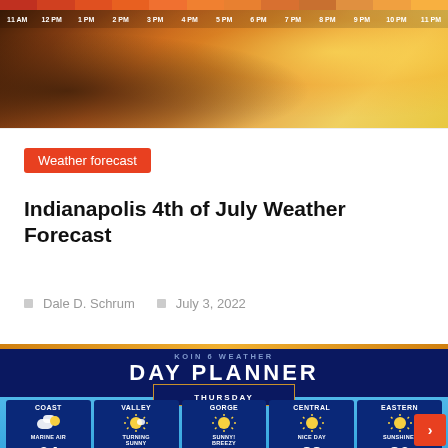[Figure (photo): Top banner image showing sparklers/fireworks with a time bar overlay showing hours from 11 AM to 11 PM with colored heat segments]
Weather forecast
Indianapolis 4th of July Weather Forecast
Dale D. Schrum   July 3, 2022
[Figure (infographic): KOIN 6 Weather Day Planner for Thursday showing 5 regions: COAST 64 Marine Air, VALLEY 81 Turning Sunny, GORGE 82 Sunny! Breezy, CENTRAL 82 Nice Day, EASTERN 86 Sunshine!]